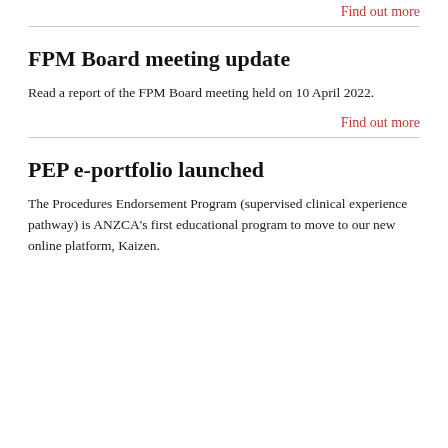Find out more
FPM Board meeting update
Read a report of the FPM Board meeting held on 10 April 2022.
Find out more
PEP e-portfolio launched
The Procedures Endorsement Program (supervised clinical experience pathway) is ANZCA's first educational program to move to our new online platform, Kaizen.